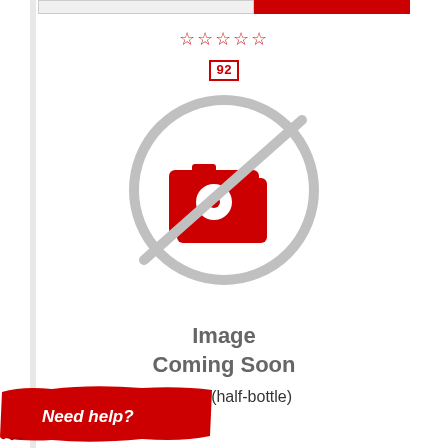[Figure (other): Top navigation bar with white/grey section and red section]
[Figure (other): Five empty star rating icons in red outline]
[Figure (other): Score box showing '92' in red border]
[Figure (other): Image Coming Soon placeholder with grey circle and red camera icon]
Image Coming Soon
z, Vintage Port 1997 (half-bottle)
[Figure (other): Red brushstroke banner with 'Need help?' text]